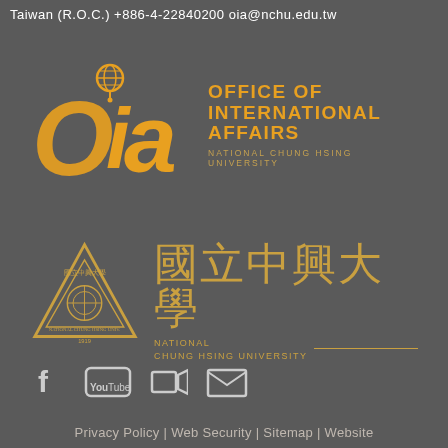Taiwan (R.O.C.) +886-4-22840200 oia@nchu.edu.tw
[Figure (logo): OIA - Office of International Affairs, National Chung Hsing University logo with orange stylized Oia lettering and globe icon]
[Figure (logo): National Chung Hsing University logo with gold triangle emblem and Chinese characters 國立中興大學]
[Figure (infographic): Social media icons: Facebook, YouTube, video, email]
Privacy Policy | Web Security | Sitemap | Website